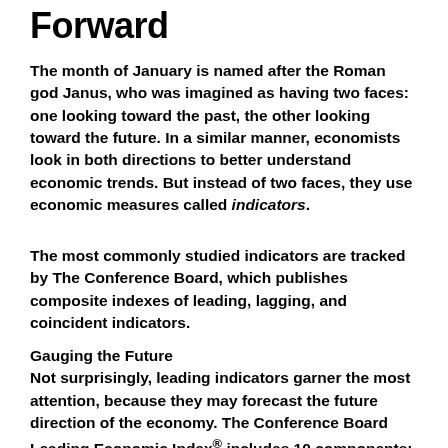Forward
The month of January is named after the Roman god Janus, who was imagined as having two faces: one looking toward the past, the other looking toward the future. In a similar manner, economists look in both directions to better understand economic trends. But instead of two faces, they use economic measures called indicators.
The most commonly studied indicators are tracked by The Conference Board, which publishes composite indexes of leading, lagging, and coincident indicators.
Gauging the Future
Not surprisingly, leading indicators garner the most attention, because they may forecast the future direction of the economy. The Conference Board Leading Economic Index® includes 10 components: